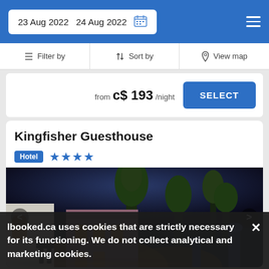23 Aug 2022  24 Aug 2022
Filter by  Sort by  View map
from c$ 193/night  SELECT
Kingfisher Guesthouse
Hotel ★★★★
[Figure (photo): Nighttime exterior photo of Kingfisher Guesthouse showing illuminated building facade with trees and warm lighting]
lbooked.ca uses cookies that are strictly necessary for its functioning. We do not collect analytical and marketing cookies.